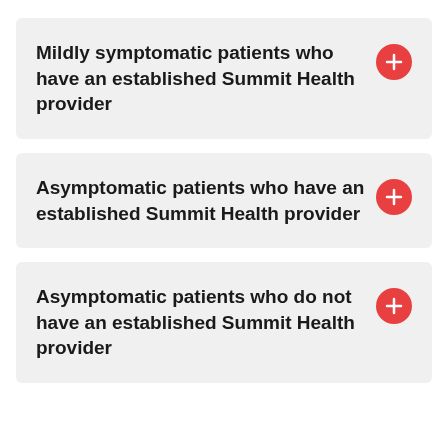Mildly symptomatic patients who have an established Summit Health provider
Asymptomatic patients who have an established Summit Health provider
Asymptomatic patients who do not have an established Summit Health provider